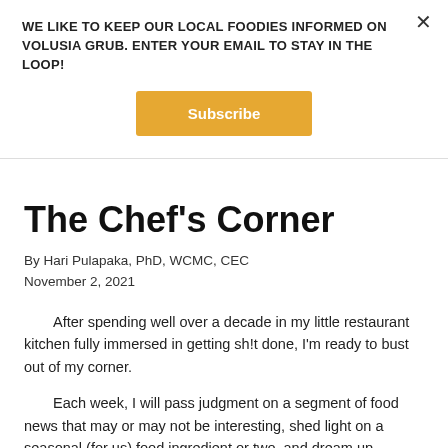WE LIKE TO KEEP OUR LOCAL FOODIES INFORMED ON VOLUSIA GRUB. ENTER YOUR EMAIL TO STAY IN THE LOOP!
Subscribe
The Chef’s Corner
By Hari Pulapaka, PhD, WCMC, CEC
November 2, 2021
After spending well over a decade in my little restaurant kitchen fully immersed in getting sh!t done, I’m ready to bust out of my corner.
Each week, I will pass judgment on a segment of food news that may or may not be interesting, shed light on a seasonal (for us) food ingredient or two, and dream up